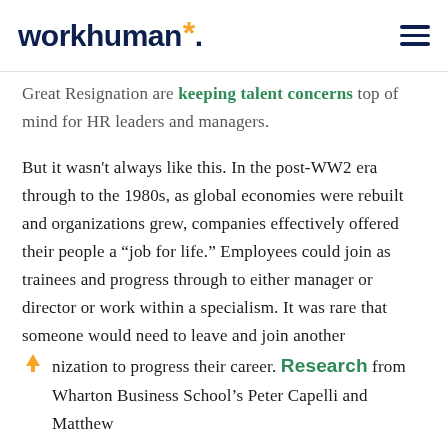workhuman*
Great Resignation are keeping talent concerns top of mind for HR leaders and managers.
But it wasn't always like this. In the post-WW2 era through to the 1980s, as global economies were rebuilt and organizations grew, companies effectively offered their people a “job for life.” Employees could join as trainees and progress through to either manager or director or work within a specialism. It was rare that someone would need to leave and join another organization to progress their career. Research from Wharton Business School’s Peter Capelli and Matthew